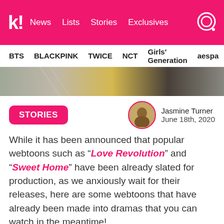k! News  Lists  Stories  Exclusives
BTS  BLACKPINK  TWICE  NCT  Girls' Generation  aespa
[Figure (photo): Hero image strip showing partial figures, clothing in grey/yellow/dark tones]
STORIES
Jasmine Turner
June 18th, 2020
While it has been announced that popular webtoons such as “Love Revolution” and “Sweet Home” have been already slated for production, as we anxiously wait for their releases, here are some webtoons that have already been made into dramas that you can watch in the meantime!
1. “Love Alarm”